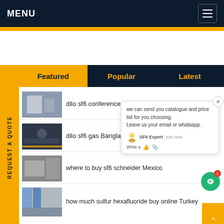MENU
Featured | Popular | Latest
REQUEST A QUOTE
dilo sf6 conference Brazil
dilo sf6 gas Bangladesh
where to buy sf6 schneider Mexico
how much sulfur hexafluoride buy online Turkey
we can send you catalogue and price list for you choosing.
Leave us your email or whatsapp .
SF6 Expert   just now
Write a